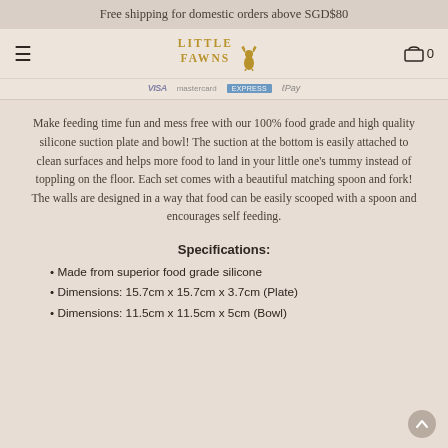Free shipping for domestic orders above SGD$80
[Figure (logo): Little Fawns brand logo with hamburger menu on left, cart icon with 0 on right, and payment method icons (Visa, Mastercard, American Express, Apple Pay) below]
Make feeding time fun and mess free with our 100% food grade and high quality silicone suction plate and bowl! The suction at the bottom is easily attached to clean surfaces and helps more food to land in your little one's tummy instead of toppling on the floor. Each set comes with a beautiful matching spoon and fork! The walls are designed in a way that food can be easily scooped with a spoon and encourages self feeding.
Specifications:
Made from superior food grade silicone
Dimensions: 15.7cm x 15.7cm x 3.7cm (Plate)
Dimensions: 11.5cm x 11.5cm x 5cm (Bowl)